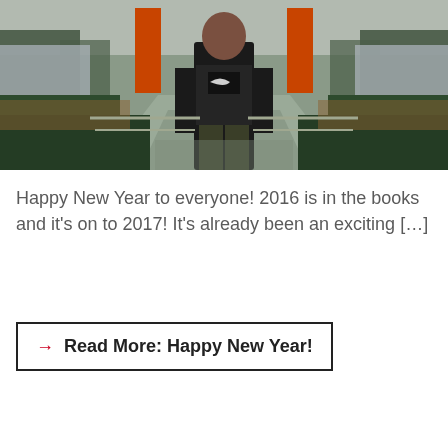[Figure (photo): A man in a dark puffer jacket and Nike sweatshirt standing on a walkway in front of orange architectural panels and green hedges, outdoors.]
Happy New Year to everyone!  2016 is in the books and it's on to 2017! It's already been an exciting […]
Read More: Happy New Year!